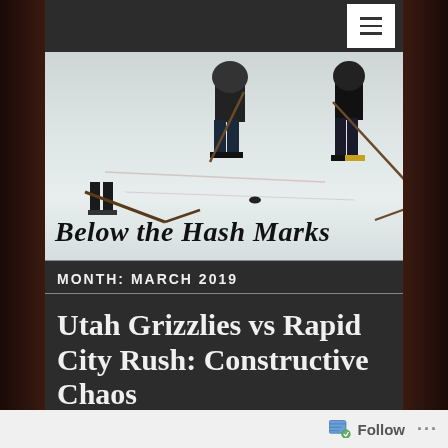[Figure (photo): Hockey players on ice rink, viewed from low angle, with hockey sticks and puck visible. Blog header image.]
Below the Hash Marks
MONTH: MARCH 2019
Utah Grizzlies vs Rapid City Rush: Constructive Chaos
[Figure (photo): Partial hockey rink image at bottom of page, article preview thumbnail.]